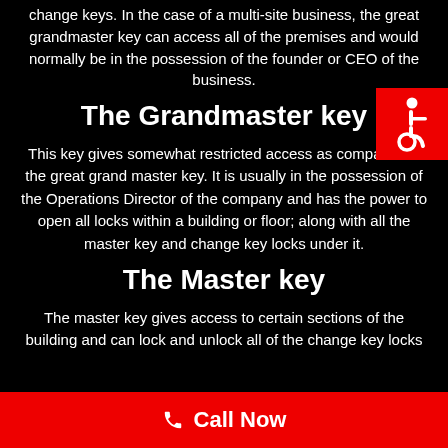change keys. In the case of a multi-site business, the great grandmaster key can access all of the premises and would normally be in the possession of the founder or CEO of the business.
[Figure (illustration): Red square with white wheelchair accessibility icon]
The Grandmaster key
This key gives somewhat restricted access as compared to the great grand master key. It is usually in the possession of the Operations Director of the company and has the power to open all locks within a building or floor; along with all the master key and change key locks under it.
The Master key
The master key gives access to certain sections of the building and can lock and unlock all of the change key locks
Call Now